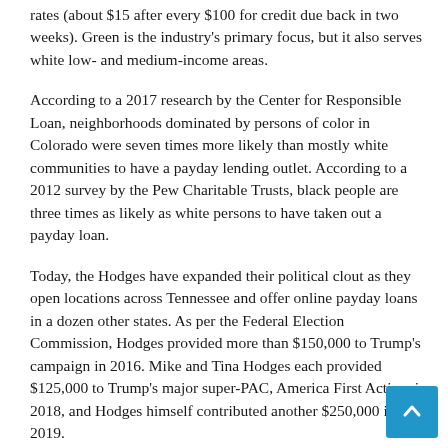rates (about $15 after every $100 for credit due back in two weeks). Green is the industry's primary focus, but it also serves white low- and medium-income areas.
According to a 2017 research by the Center for Responsible Loan, neighborhoods dominated by persons of color in Colorado were seven times more likely than mostly white communities to have a payday lending outlet. According to a 2012 survey by the Pew Charitable Trusts, black people are three times as likely as white persons to have taken out a payday loan.
Today, the Hodges have expanded their political clout as they open locations across Tennessee and offer online payday loans in a dozen other states. As per the Federal Election Commission, Hodges provided more than $150,000 to Trump's campaign in 2016. Mike and Tina Hodges each provided $125,000 to Trump's major super-PAC, America First Action, in 2018, and Hodges himself contributed another $250,000 in 2019.
According to the Federal Election Commission, Hodges and their